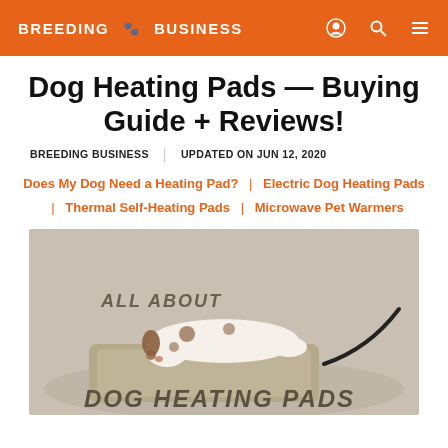BREEDING BUSINESS
Dog Heating Pads — Buying Guide + Reviews!
BREEDING BUSINESS   UPDATED ON JUN 12, 2020
Does My Dog Need a Heating Pad? | Electric Dog Heating Pads | Thermal Self-Heating Pads | Microwave Pet Warmers
[Figure (photo): Dog lying on a heating pad with text 'ALL ABOUT DOG HEATING PADS']